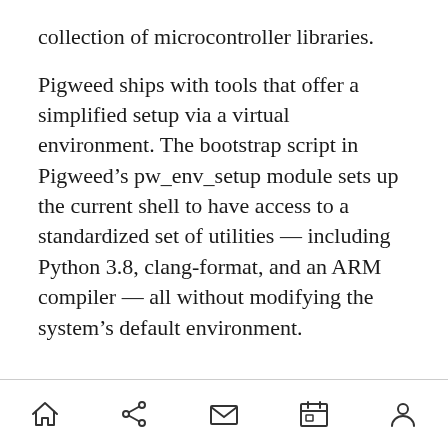collection of microcontroller libraries.
Pigweed ships with tools that offer a simplified setup via a virtual environment. The bootstrap script in Pigweed’s pw_env_setup module sets up the current shell to have access to a standardized set of utilities — including Python 3.8, clang-format, and an ARM compiler — all without modifying the system’s default environment.
[home] [share] [mail] [calendar] [person]